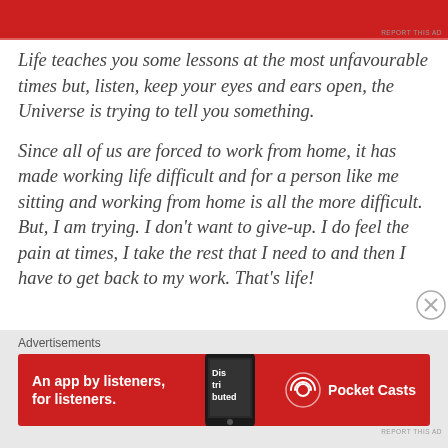[Figure (other): Red advertisement banner at top of page]
Life teaches you some lessons at the most unfavourable times but, listen, keep your eyes and ears open, the Universe is trying to tell you something.
Since all of us are forced to work from home, it has made working life difficult and for a person like me sitting and working from home is all the more difficult. But, I am trying. I don't want to give-up. I do feel the pain at times, I take the rest that I need to and then I have to get back to my work. That's life!
Advertisements
[Figure (other): Pocket Casts advertisement banner: An app by listeners, for listeners.]